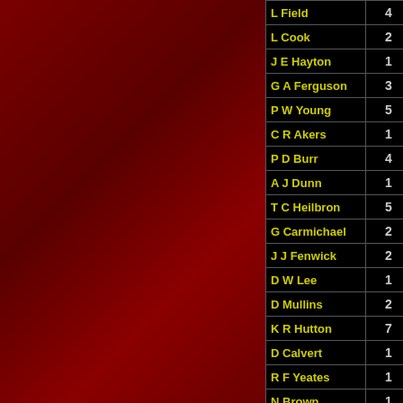| Name | Value |  |
| --- | --- | --- |
| L Field | 4 |  |
| L Cook | 2 |  |
| J E Hayton | 1 |  |
| G A Ferguson | 3 |  |
| P W Young | 5 |  |
| C R Akers | 1 |  |
| P D Burr | 4 |  |
| A J Dunn | 1 |  |
| T C Heilbron | 5 |  |
| G Carmichael | 2 |  |
| J J Fenwick | 2 |  |
| D W Lee | 1 |  |
| D Mullins | 2 |  |
| K R Hutton | 7 |  |
| D Calvert | 1 |  |
| R F Yeates | 1 |  |
| N Brown | 1 |  |